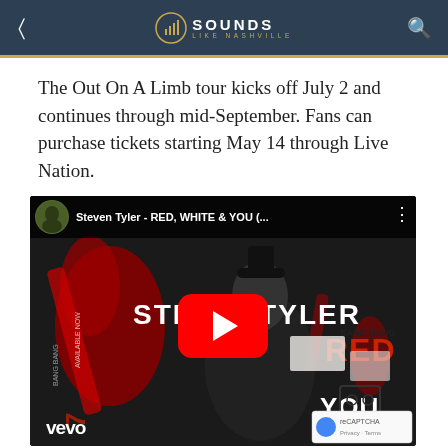Sounds Like Nashville
The Out On A Limb tour kicks off July 2 and continues through mid-September. Fans can purchase tickets starting May 14 through Live Nation.
[Figure (screenshot): YouTube video embed showing Steven Tyler - RED, WHITE & YOU music video thumbnail with Vevo branding and YouTube play button]